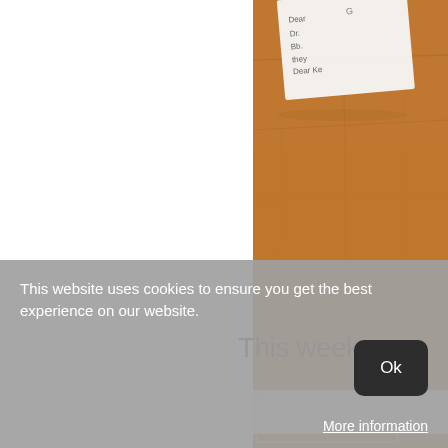[Figure (photo): Partial view of a wooden desk surface with handwritten notes or papers on it, cropped on the right side of the page]
This week,
[Figure (photo): Partial view of a second photo showing what appears to be a document/paper on a wooden surface, partially visible at bottom right]
This website uses cookies to ensure you get the best experience on our website.
Ok
More information